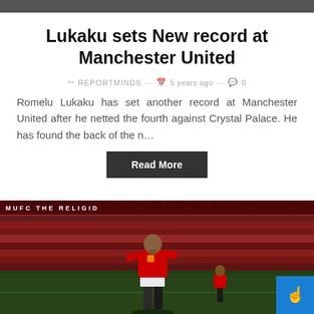Lukaku sets New record at Manchester United
✏ REPORTMINDS — 📅 5 years ago — 💬 0
Romelu Lukaku has set another record at Manchester United after he netted the fourth against Crystal Palace. He has found the back of the n…
Read More
[Figure (photo): A Manchester United player in red jersey celebrating on the pitch, with a packed stadium crowd in the background. A dark red banner visible at top of image.]